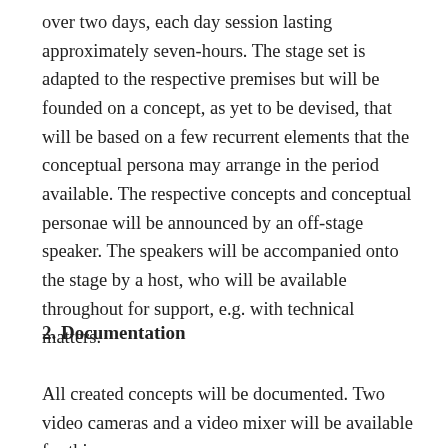over two days, each day session lasting approximately seven-hours. The stage set is adapted to the respective premises but will be founded on a concept, as yet to be devised, that will be based on a few recurrent elements that the conceptual persona may arrange in the period available. The respective concepts and conceptual personae will be announced by an off-stage speaker. The speakers will be accompanied onto the stage by a host, who will be available throughout for support, e.g. with technical matters.
2. Documentation
All created concepts will be documented. Two video cameras and a video mixer will be available for this